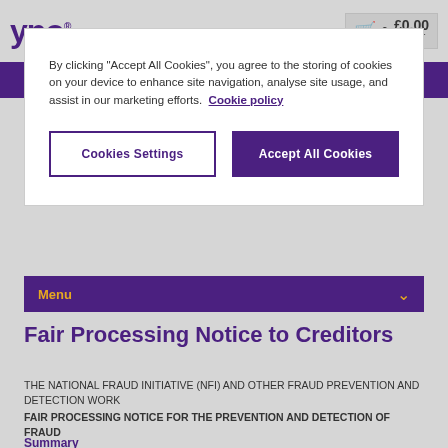YPO® 0 £0.00 ex VAT
By clicking "Accept All Cookies", you agree to the storing of cookies on your device to enhance site navigation, analyse site usage, and assist in our marketing efforts. Cookie policy
Cookies Settings
Accept All Cookies
Menu
Fair Processing Notice to Creditors
THE NATIONAL FRAUD INITIATIVE (NFI) AND OTHER FRAUD PREVENTION AND DETECTION WORK
FAIR PROCESSING NOTICE FOR THE PREVENTION AND DETECTION OF FRAUD
Summary